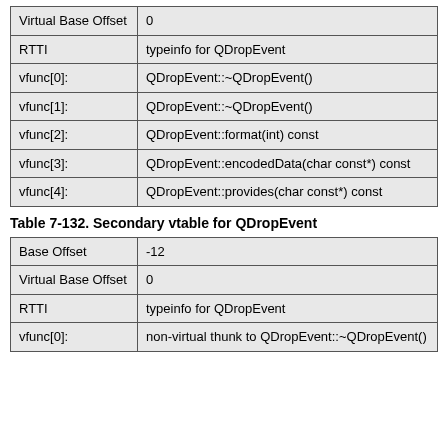|  |  |
| --- | --- |
| Virtual Base Offset | 0 |
| RTTI | typeinfo for QDropEvent |
| vfunc[0]: | QDropEvent::~QDropEvent() |
| vfunc[1]: | QDropEvent::~QDropEvent() |
| vfunc[2]: | QDropEvent::format(int) const |
| vfunc[3]: | QDropEvent::encodedData(char const*) const |
| vfunc[4]: | QDropEvent::provides(char const*) const |
Table 7-132. Secondary vtable for QDropEvent
|  |  |
| --- | --- |
| Base Offset | -12 |
| Virtual Base Offset | 0 |
| RTTI | typeinfo for QDropEvent |
| vfunc[0]: | non-virtual thunk to QDropEvent::~QDropEvent() |